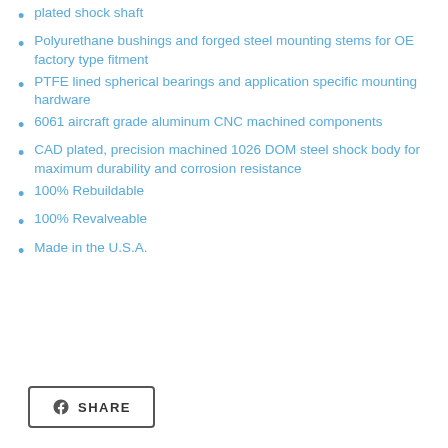plated shock shaft
Polyurethane bushings and forged steel mounting stems for OE factory type fitment
PTFE lined spherical bearings and application specific mounting hardware
6061 aircraft grade aluminum CNC machined components
CAD plated, precision machined 1026 DOM steel shock body for maximum durability and corrosion resistance
100% Rebuildable
100% Revalveable
Made in the U.S.A.
SHARE